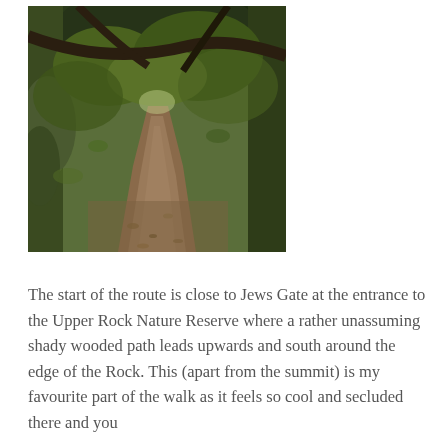[Figure (photo): A shady wooded path winding upwards through dense green trees and leaf-covered ground, creating a tunnel-like canopy overhead.]
The start of the route is close to Jews Gate at the entrance to the Upper Rock Nature Reserve where a rather unassuming shady wooded path leads upwards and south around the edge of the Rock. This (apart from the summit) is my favourite part of the walk as it feels so cool and secluded there and you